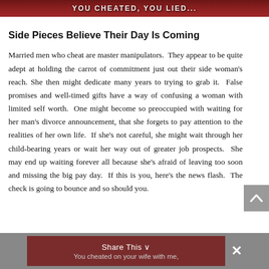[Figure (photo): Top banner image with dark red/maroon background and white bold text, partially visible.]
Side Pieces Believe Their Day Is Coming
Married men who cheat are master manipulators. They appear to be quite adept at holding the carrot of commitment just out their side woman’s reach. She then might dedicate many years to trying to grab it. False promises and well-timed gifts have a way of confusing a woman with limited self worth. One might become so preoccupied with waiting for her man’s divorce announcement, that she forgets to pay attention to the realities of her own life. If she’s not careful, she might wait through her child-bearing years or wait her way out of greater job prospects. She may end up waiting forever all because she’s afraid of leaving too soon and missing the big pay day. If this is you, here’s the news flash. The check is going to bounce and so should you.
[Figure (screenshot): Bottom share bar with dark gray background containing a maroon 'Share This' button with text 'You cheated on your wife with me,' and a close (x) button.]